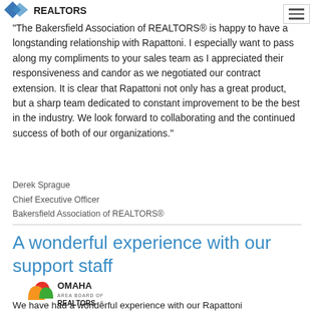[Figure (logo): Bakersfield Association of REALTORS logo (partial, top of page)]
[Figure (other): Hamburger menu icon in top right corner]
"The Bakersfield Association of REALTORS® is happy to have a longstanding relationship with Rapattoni. I especially want to pass along my compliments to your sales team as I appreciated their responsiveness and candor as we negotiated our contract extension. It is clear that Rapattoni not only has a great product, but a sharp team dedicated to constant improvement to be the best in the industry. We look forward to collaborating and the continued success of both of our organizations."
Derek Sprague
Chief Executive Officer
Bakersfield Association of REALTORS®
A wonderful experience with our support staff
[Figure (logo): Omaha Area Board of REALTORS logo]
We have had a wonderful experience with our Rapattoni